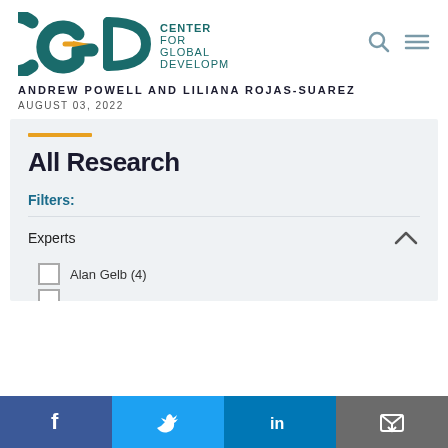[Figure (logo): CGD Center for Global Development logo with teal letters and yellow arrow, navigation icons (search, menu) on right]
ANDREW POWELL AND LILIANA ROJAS-SUAREZ
AUGUST 03, 2022
All Research
Filters:
Experts
Alan Gelb (4)
[Figure (infographic): Social media share bar with Facebook, Twitter, LinkedIn, and email icons]